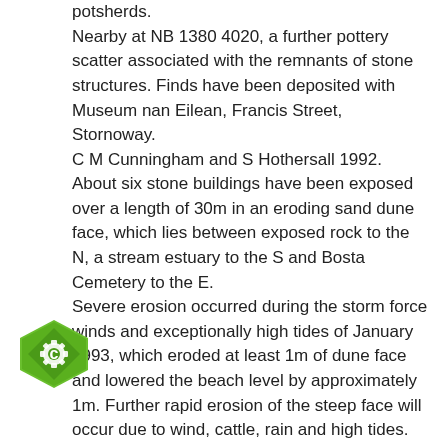potsherds. Nearby at NB 1380 4020, a further pottery scatter associated with the remnants of stone structures. Finds have been deposited with Museum nan Eilean, Francis Street, Stornoway. C M Cunningham and S Hothersall 1992.
About six stone buildings have been exposed over a length of 30m in an eroding sand dune face, which lies between exposed rock to the N, a stream estuary to the S and Bosta Cemetery to the E. Severe erosion occurred during the storm force winds and exceptionally high tides of January 1993, which eroded at least 1m of dune face and lowered the beach level by approximately 1m. Further rapid erosion of the steep face will occur due to wind, cattle, rain and high tides. The total vertical height of the eroding face of the dune lies from 2m to 5m. There is a considerable quantity of tumble stone on the ebach below and about 0.5m to 1m of clean sand overburden above the walls.